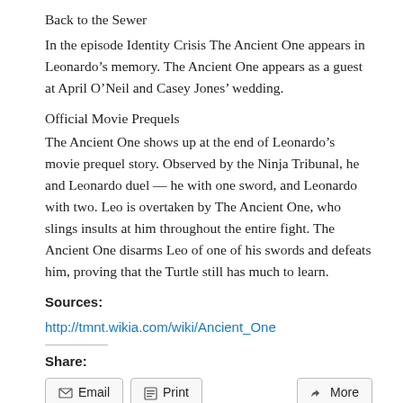Back to the Sewer
In the episode Identity Crisis The Ancient One appears in Leonardo’s memory. The Ancient One appears as a guest at April O’Neil and Casey Jones’ wedding.
Official Movie Prequels
The Ancient One shows up at the end of Leonardo’s movie prequel story. Observed by the Ninja Tribunal, he and Leonardo duel — he with one sword, and Leonardo with two. Leo is overtaken by The Ancient One, who slings insults at him throughout the entire fight. The Ancient One disarms Leo of one of his swords and defeats him, proving that the Turtle still has much to learn.
Sources:
http://tmnt.wikia.com/wiki/Ancient_One
Share:
Email   Print   More